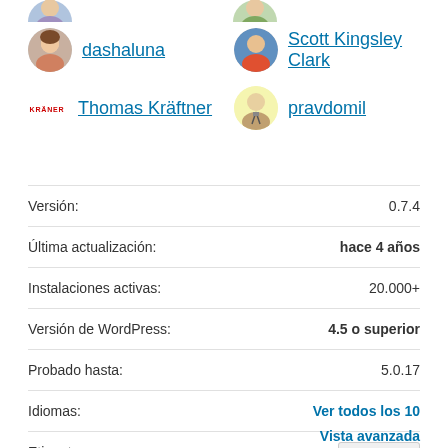[Figure (illustration): Partial avatar at top left (cropped)]
[Figure (illustration): Partial avatar at top right (cropped)]
dashaluna
Scott Kingsley Clark
Thomas Kräftner
pravdomil
| Label | Value |
| --- | --- |
| Versión: | 0.7.4 |
| Última actualización: | hace 4 años |
| Instalaciones activas: | 20.000+ |
| Versión de WordPress: | 4.5 o superior |
| Probado hasta: | 5.0.17 |
| Idiomas: | Ver todos los 10 |
| Etiqueta: | shortcodes |
Vista avanzada